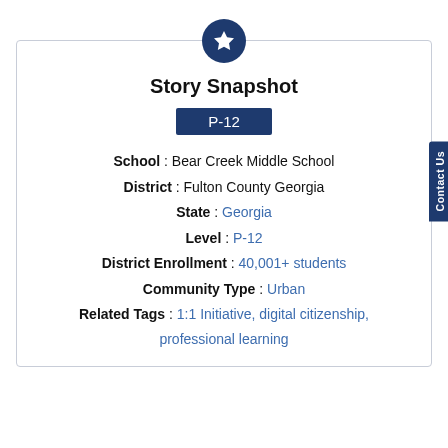Story Snapshot
P-12
School : Bear Creek Middle School
District : Fulton County Georgia
State : Georgia
Level : P-12
District Enrollment : 40,001+ students
Community Type : Urban
Related Tags : 1:1 Initiative, digital citizenship, professional learning